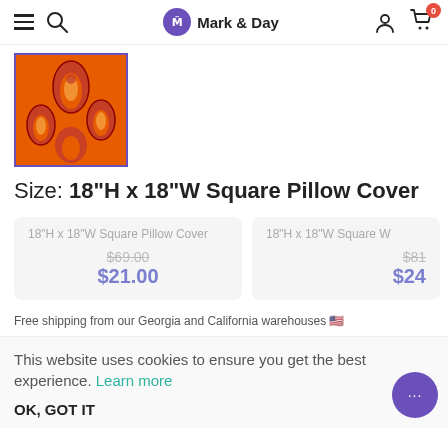Mark & Day
[Figure (photo): Orange and red decorative pillow with teardrop/paisley pattern, shown as product thumbnail with purple border]
Size: 18"H x 18"W Square Pillow Cover
| Option 1 | Option 2 |
| --- | --- |
| 18"H x 18"W Square Pillow Cover | 18"H x 18"W Square W... |
| $69.00 | $81... |
| $21.00 | $24... |
Free shipping from our Georgia and California warehouses 🇺🇸
This website uses cookies to ensure you get the best experience. Learn more
OK, GOT IT